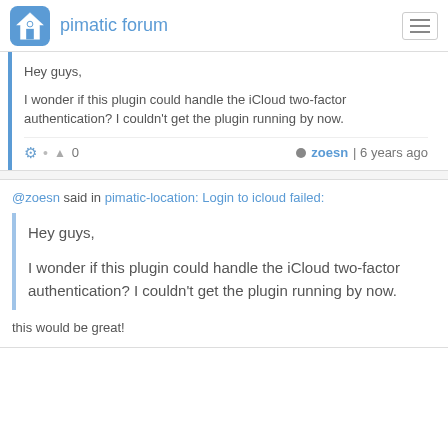pimatic forum
Hey guys,

I wonder if this plugin could handle the iCloud two-factor authentication? I couldn't get the plugin running by now.
⚙ • ▲ 0    zoesn | 6 years ago
@zoesn said in pimatic-location: Login to icloud failed:
Hey guys,

I wonder if this plugin could handle the iCloud two-factor authentication? I couldn't get the plugin running by now.
this would be great!